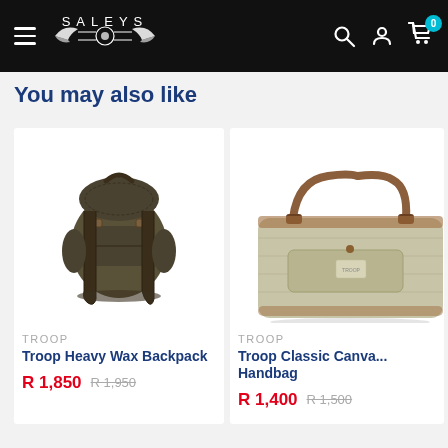[Figure (screenshot): Saleys online store navigation bar with hamburger menu, Saleys logo with wings, search icon, account icon, and cart icon with badge showing 0]
You may also like
[Figure (photo): Olive/khaki military-style heavy wax canvas backpack with leather buckles and straps, multiple front pockets]
TROOP
Troop Heavy Wax Backpack
R 1,850  R 1,950
[Figure (photo): Light khaki/beige canvas handbag with brown leather handles and trim, multiple compartments]
TROOP
Troop Classic Canva... Handbag
R 1,400  R 1,500